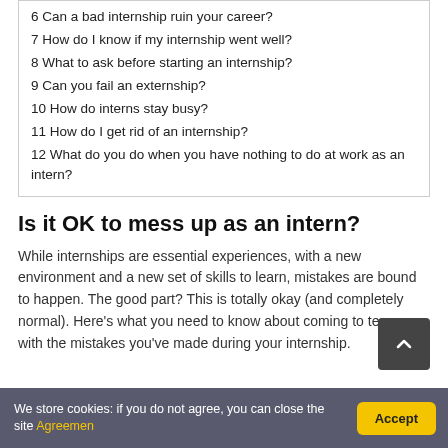6 Can a bad internship ruin your career?
7 How do I know if my internship went well?
8 What to ask before starting an internship?
9 Can you fail an externship?
10 How do interns stay busy?
11 How do I get rid of an internship?
12 What do you do when you have nothing to do at work as an intern?
Is it OK to mess up as an intern?
While internships are essential experiences, with a new environment and a new set of skills to learn, mistakes are bound to happen. The good part? This is totally okay (and completely normal). Here's what you need to know about coming to terms with the mistakes you've made during your internship.
We store cookies: if you do not agree, you can close the site Agreemen